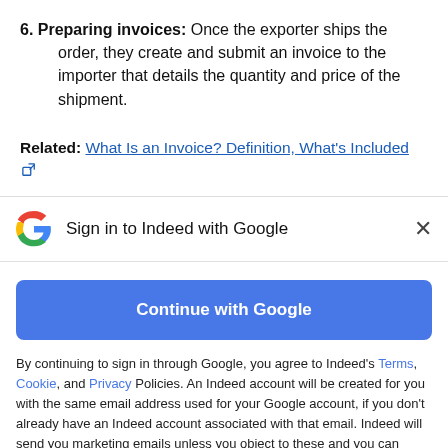6. Preparing invoices: Once the exporter ships the order, they create and submit an invoice to the importer that details the quantity and price of the shipment.
Related: What Is an Invoice? Definition, What's Included [external link]
[Figure (screenshot): Sign in to Indeed with Google modal dialog showing Google G logo, close button, Continue with Google button, and terms/cookie/privacy policy text]